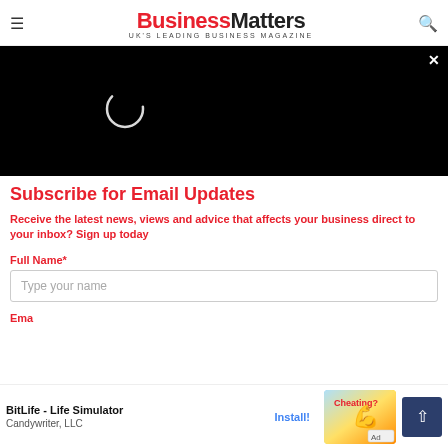Business Matters - UK'S LEADING BUSINESS MAGAZINE
[Figure (screenshot): Black video player overlay with loading spinner circle in white, close X button top right]
Subscribe for Email Updates
Receive the latest news, views and advice that affects your business direct to your inbox? Sign up today
Full Name*
Type your name
Ema
[Figure (screenshot): Ad banner: BitLife - Life Simulator by Candywriter, LLC with Install button and game image with Ad label]